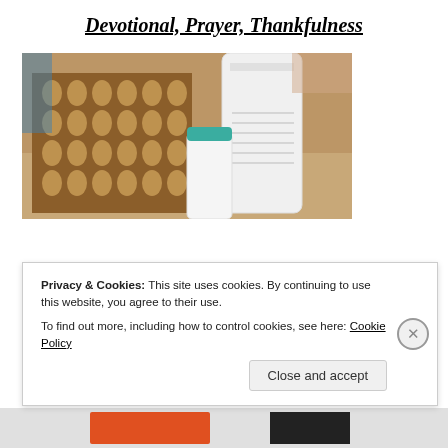Devotional, Prayer, Thankfulness
[Figure (photo): A photograph of supplement/vitamin bottles and a patterned brown and cream gift box on a granite countertop. One large white pill bottle, one smaller bottle with a teal lid, and a decorative cardboard box with a geometric leaf pattern are visible.]
Privacy & Cookies: This site uses cookies. By continuing to use this website, you agree to their use.
To find out more, including how to control cookies, see here: Cookie Policy
Close and accept